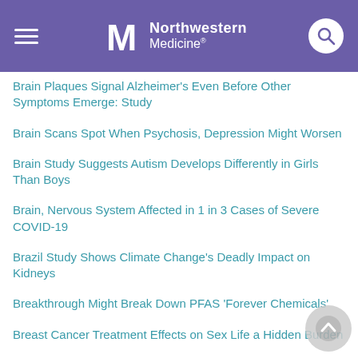Northwestern Medicine
Brain Plaques Signal Alzheimer's Even Before Other Symptoms Emerge: Study
Brain Scans Spot When Psychosis, Depression Might Worsen
Brain Study Suggests Autism Develops Differently in Girls Than Boys
Brain, Nervous System Affected in 1 in 3 Cases of Severe COVID-19
Brazil Study Shows Climate Change's Deadly Impact on Kidneys
Breakthrough Might Break Down PFAS 'Forever Chemicals'
Breast Cancer Treatment Effects on Sex Life a Hidden Burden